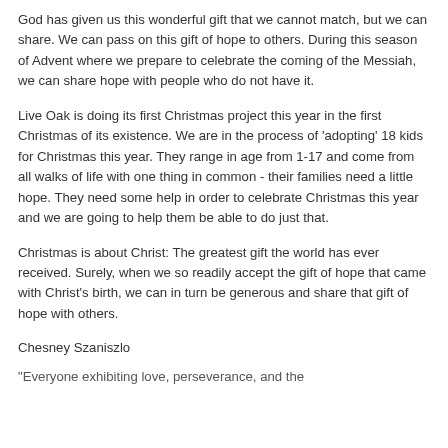God has given us this wonderful gift that we cannot match, but we can share. We can pass on this gift of hope to others. During this season of Advent where we prepare to celebrate the coming of the Messiah, we can share hope with people who do not have it.
Live Oak is doing its first Christmas project this year in the first Christmas of its existence. We are in the process of 'adopting' 18 kids for Christmas this year. They range in age from 1-17 and come from all walks of life with one thing in common - their families need a little hope. They need some help in order to celebrate Christmas this year and we are going to help them be able to do just that.
Christmas is about Christ: The greatest gift the world has ever received. Surely, when we so readily accept the gift of hope that came with Christ's birth, we can in turn be generous and share that gift of hope with others.
Chesney Szaniszlo
"Everyone exhibiting love, perseverance, and the